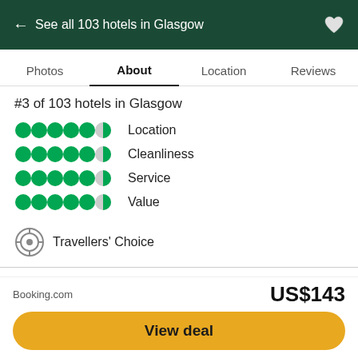← See all 103 hotels in Glasgow
Photos  About  Location  Reviews
#3 of 103 hotels in Glasgow
Location
Cleanliness
Service
Value
Travellers' Choice
The National Piping Centre is home of The Pipers' Tryst which houses 8 cosy bedrooms, and is classed by the Scottish tourist board as a 4 star 'Restaurant R...
Booking.com
US$143
View deal